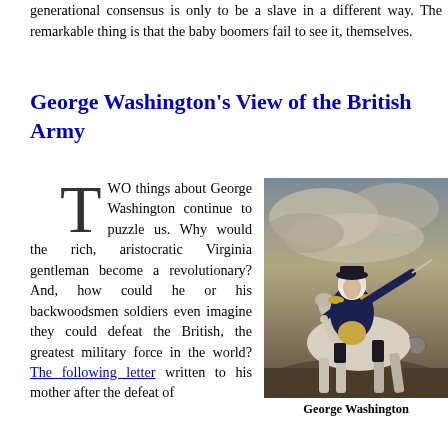generational consensus is only to be a slave in a different way. The remarkable thing is that the baby boomers fail to see it, themselves.
George Washington's View of the British Army
TWO things about George Washington continue to puzzle us. Why would the rich, aristocratic Virginia gentleman become a revolutionary? And, how could he or his backwoodsmen soldiers even imagine they could defeat the British, the greatest military force in the world? The following letter written to his mother after the defeat of
[Figure (photo): Portrait painting of George Washington on horseback, wearing a military uniform, holding a sword outstretched, with a dramatic sky background.]
George Washington